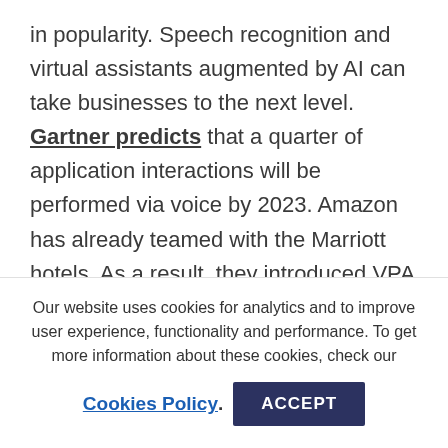in popularity. Speech recognition and virtual assistants augmented by AI can take businesses to the next level. Gartner predicts that a quarter of application interactions will be performed via voice by 2023. Amazon has already teamed with the Marriott hotels. As a result, they introduced VPA speakers with Alexa to assist with checkout procedures and management of room amenities.
Our website uses cookies for analytics and to improve user experience, functionality and performance. To get more information about these cookies, check our Cookies Policy. ACCEPT